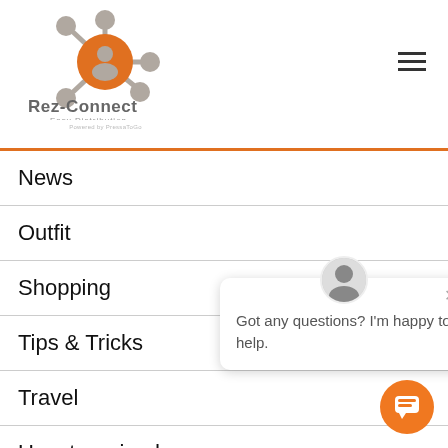[Figure (logo): Rez-Connect logo: orange hub with gray nodes, text 'Rez-Connect Easy Distribution Powered by PressaToGo']
News
Outfit
Shopping
Tips & Tricks
Travel
Uncategorized
Got any questions? I'm happy to help.